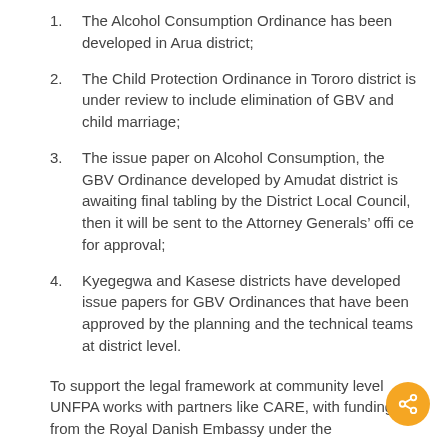The Alcohol Consumption Ordinance has been developed in Arua district;
The Child Protection Ordinance in Tororo district is under review to include elimination of GBV and child marriage;
The issue paper on Alcohol Consumption, the GBV Ordinance developed by Amudat district is awaiting final tabling by the District Local Council, then it will be sent to the Attorney Generals’ offi ce for approval;
Kyegegwa and Kasese districts have developed issue papers for GBV Ordinances that have been approved by the planning and the technical teams at district level.
To support the legal framework at community level UNFPA works with partners like CARE, with funding from the Royal Danish Embassy under the